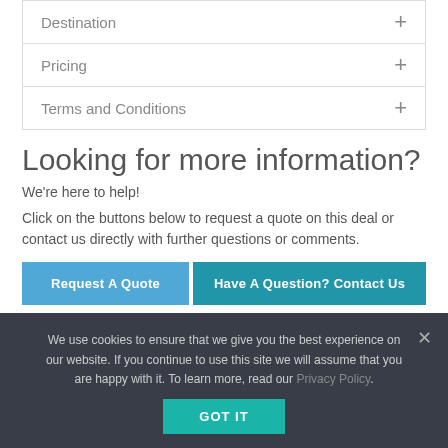Destination +
Pricing +
Terms and Conditions +
Looking for more information?
We're here to help!
Click on the buttons below to request a quote on this deal or contact us directly with further questions or comments.
Request A Quote
Have A Question? Contact Us
We use cookies to ensure that we give you the best experience on our website. If you continue to use this site we will assume that you are happy with it. To learn more, read our Privacy Policy.
GOT IT